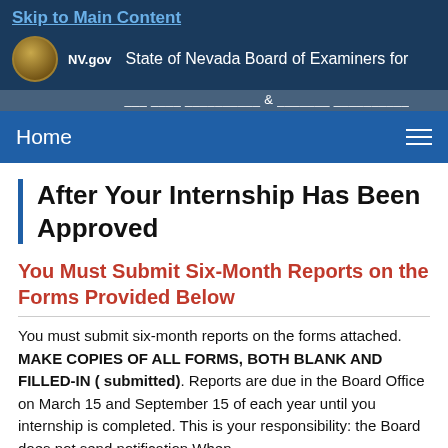Skip to Main Content
NV.gov  State of Nevada Board of Examiners for
Home
After Your Internship Has Been Approved
You Must Submit Six-Month Reports on the Forms Provided Below
You must submit six-month reports on the forms attached. MAKE COPIES OF ALL FORMS, BOTH BLANK AND FILLED-IN ( submitted). Reports are due in the Board Office on March 15 and September 15 of each year until you internship is completed. This is your responsibility: the Board does not send notification When